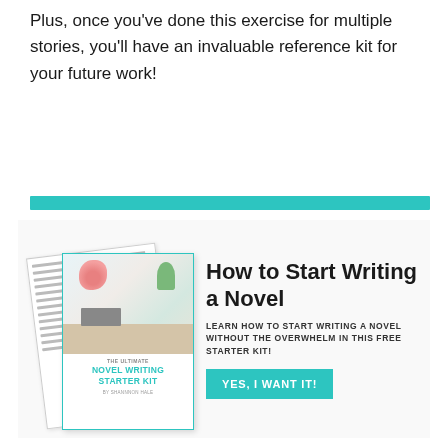Plus, once you've done this exercise for multiple stories, you'll have an invaluable reference kit for your future work!
[Figure (infographic): Teal horizontal divider bar followed by a promotional box with an image of stacked book/guide covers labeled 'The Ultimate Novel Writing Starter Kit' alongside text and a call-to-action button]
How to Start Writing a Novel
LEARN HOW TO START WRITING A NOVEL WITHOUT THE OVERWHELM IN THIS FREE STARTER KIT!
YES, I WANT IT!